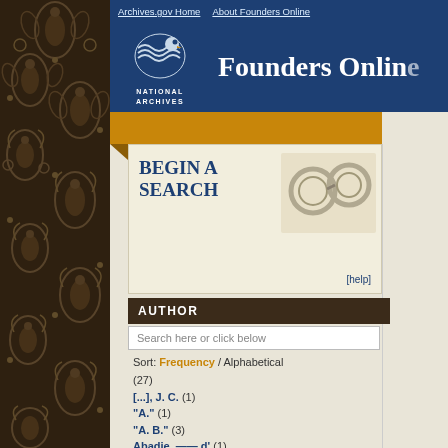[Figure (screenshot): Founders Online website screenshot showing National Archives logo on left, navigation links at top (Archives.gov Home, About Founders Online), large 'Founders Online' title in blue header, orange search banner with 'BEGIN A SEARCH' text, Author filter panel with search field and alphabetical list entries, and partial results panel on right]
Archives.gov Home   About Founders Online
Founders Online
BEGIN A SEARCH
[help]
AUTHOR
Search here or click below
Sort: Frequency / Alphabetical
(27)
[...], J. C. (1)
"A." (1)
"A. B." (3)
Abadie, —— d' (1)
Abbema, Balthasar Elias (2)
Ent
Showi
NEW SEAR
Results 1-10
1   [Diary en
29. Sowed me
2   From Geo
I have undoub protected in s detention, aft some in autho